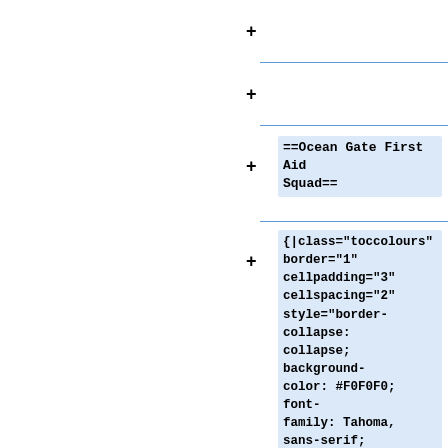(empty row 1)
(empty row 2)
==Ocean Gate First Aid Squad==
{|class="toccolours" border="1" cellpadding="3" cellspacing="2" style="border-collapse: collapse; background-color: #F0F0F0; font-family: Tahoma, sans-serif; FONT-SIZE: 11px; padding: 3px; border: 1px solid #aaaaaa"
! align="center" style="color: #FFFFFF; background: #2C5184;